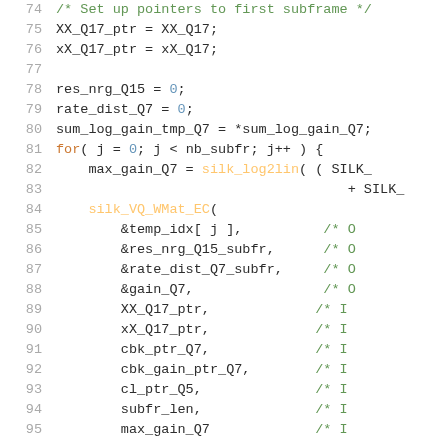[Figure (screenshot): Source code listing in C showing lines 74-95, with syntax highlighting. Line numbers in gray on left, comments in green, keywords in orange, numeric literals in blue, identifiers in dark/white text on dark background.]